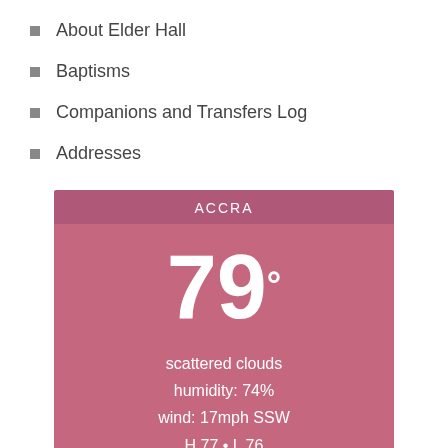About Elder Hall
Baptisms
Companions and Transfers Log
Addresses
[Figure (infographic): Weather widget for Accra showing 79 degrees, scattered clouds, humidity 74%, wind 17mph SSW, H 77 L 76, with 3-day forecast MON 79° TUE 79° WED 79° and extended forecast link]